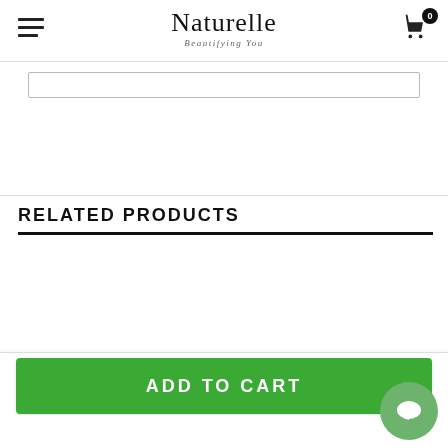Naturelle — Beautifying You
RELATED PRODUCTS
ADD TO CART